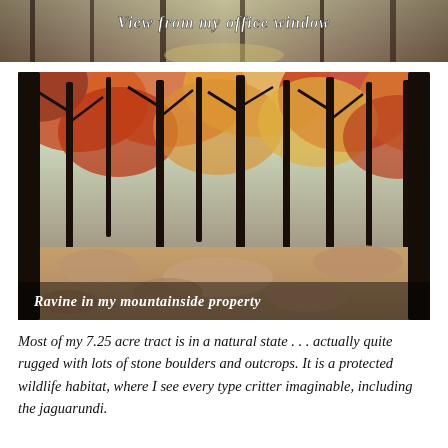[Figure (photo): Top banner photo of a forest path/mountain view with white text overlay reading 'View from my office window']
[Figure (photo): Autumn forest ravine with deciduous trees showing red, orange, and yellow foliage, rocky ground, with white text overlay at bottom reading 'Ravine in my mountainside property']
Most of my 7.25 acre tract is in a natural state . . . actually quite rugged with lots of stone boulders and outcrops. It is a protected wildlife habitat, where I see every type critter imaginable, including the jaguarundi.